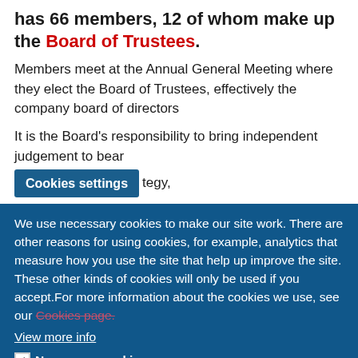has 66 members, 12 of whom make up the Board of Trustees.
Members meet at the Annual General Meeting where they elect the Board of Trustees, effectively the company board of directors
It is the Board's responsibility to bring independent judgement to bear [Cookies settings button] tegy,
We use necessary cookies to make our site work. There are other reasons for using cookies, for example, analytics that measure how you use the site that help up improve the site. These other kinds of cookies will only be used if you accept.For more information about the cookies we use, see our Cookies page.
View more info
☑ Necessary cookies
Necessary cookies enable core functionality such as security, network management, and accessibility. You may disable these by